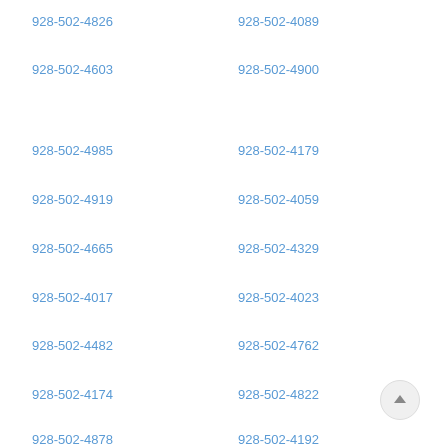928-502-4826
928-502-4089
928-502-4603
928-502-4900
928-502-4985
928-502-4179
928-502-4919
928-502-4059
928-502-4665
928-502-4329
928-502-4017
928-502-4023
928-502-4482
928-502-4762
928-502-4174
928-502-4822
928-502-4878
928-502-4192